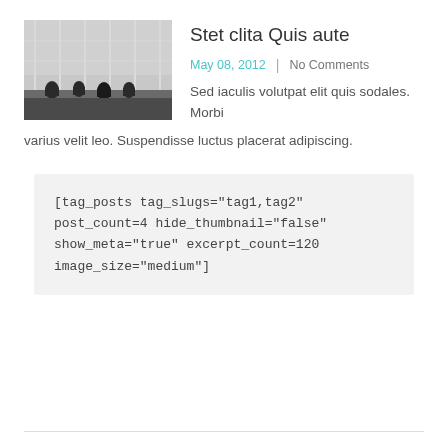[Figure (photo): Black and white photo of people sitting in what appears to be a large hall or airport with tall windows in the background.]
Stet clita Quis aute
May 08, 2012  |  No Comments
Sed iaculis volutpat elit quis sodales. Morbi varius velit leo. Suspendisse luctus placerat adipiscing.
[tag_posts tag_slugs="tag1,tag2" post_count=4 hide_thumbnail="false" show_meta="true" excerpt_count=120 image_size="medium"]